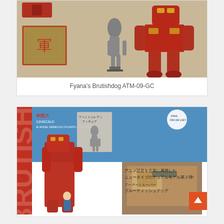[Figure (photo): Photo of model kit box contents showing red mecha parts, Japanese character decals, and an unpainted humanoid figure, with a large assembled red robot figure on the right]
Fyana's Brutishdog ATM-09-GC
[Figure (photo): Photo of the box art for Brutishdog 1/24 scale model kit (Plastic & Zinc Diecast), showing Japanese text, a Phantom Lady figure inset, box art of the red mecha, and Japanese text describing it as the second dual model faithfully recreating anime settings. Includes a scroll-to-top orange button.]